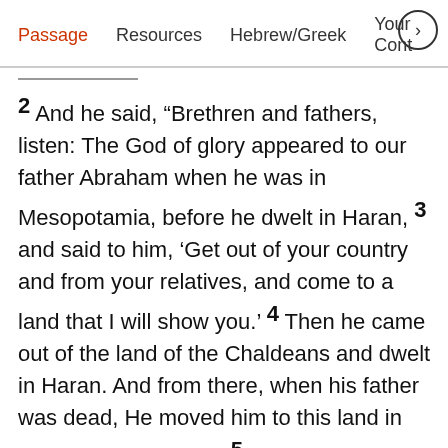Passage  Resources  Hebrew/Greek  Your Cont >
2 And he said, “Brethren and fathers, listen: The God of glory appeared to our father Abraham when he was in Mesopotamia, before he dwelt in Haran, 3 and said to him, ‘Get out of your country and from your relatives, and come to a land that I will show you.’ 4 Then he came out of the land of the Chaldeans and dwelt in Haran. And from there, when his father was dead, He moved him to this land in which you now dwell. 5 And God gave him no inheritance in it, not even enough to set his foot on. But even when Abraham had no child, He promised to give it to him for a possession, and to his descendants after him. 6 But God spoke in this way: that his descendants would dwell in a foreign land, and that they would bring them into bondage and oppress them four hundred years